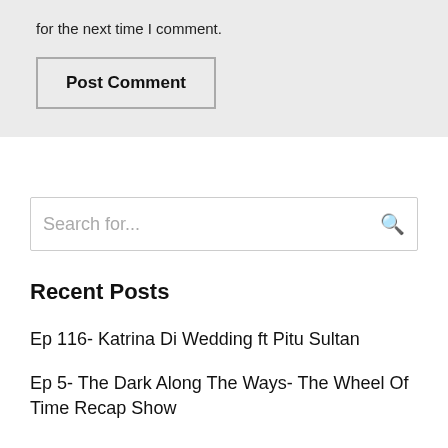for the next time I comment.
Post Comment
Search for...
Recent Posts
Ep 116- Katrina Di Wedding ft Pitu Sultan
Ep 5- The Dark Along The Ways- The Wheel Of Time Recap Show